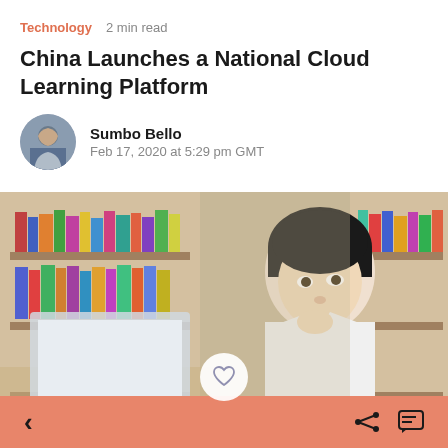Technology  2 min read
China Launches a National Cloud Learning Platform
Sumbo Bello
Feb 17, 2020 at 5:29 pm GMT
[Figure (photo): A young Asian boy in a white shirt sitting in front of a laptop, looking upward thoughtfully, with bookshelves full of colorful books in the background.]